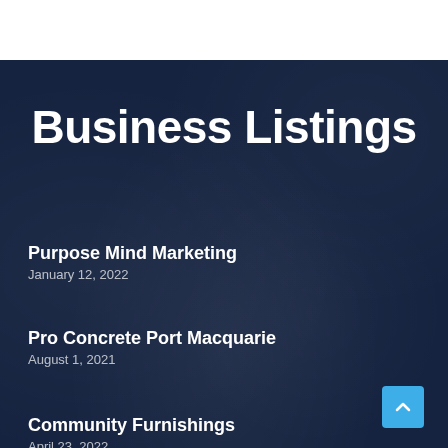Business Listings
Purpose Mind Marketing
January 12, 2022
Pro Concrete Port Macquarie
August 1, 2021
Community Furnishings
April 23, 2022